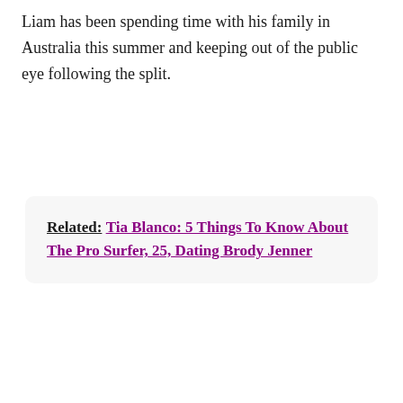Liam has been spending time with his family in Australia this summer and keeping out of the public eye following the split.
Related: Tia Blanco: 5 Things To Know About The Pro Surfer, 25, Dating Brody Jenner